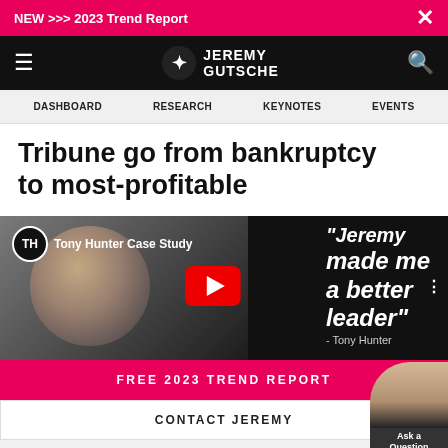NEW >>> 2023 Trend Report
[Figure (logo): Jeremy Gutsche logo with phoenix/eagle icon and text JEREMY GUTSCHE on black navigation bar]
DASHBOARD  RESEARCH  KEYNOTES  EVENTS
Tribune go from bankruptcy to most-profitable
[Figure (screenshot): YouTube video thumbnail for Tony Hunter Case Study showing a bald man's face and a quote: 'Jeremy made me a better leader' - Tony Hunter, with YouTube play button]
FREE 2023 TREND REPORT
CONTACT JEREMY